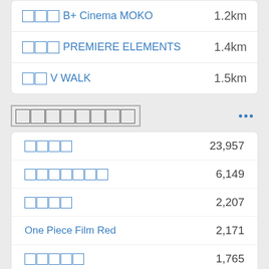□□□□ B+ Cinema MOKO — 1.2km
□□□ PREMIERE ELEMENTS — 1.4km
□□ V WALK — 1.5km
□□□□□□□□
□□□□ — 23,957
□□□□□□□ — 6,149
□□□□ — 2,207
One Piece Film Red — 2,171
□□□□□ — 1,765
□□ — 1,446
□□□□□ — 955